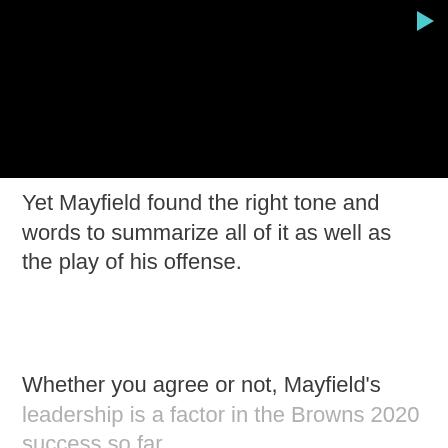[Figure (other): Black video thumbnail with a teal/cyan play button icon in the top-right corner]
Yet Mayfield found the right tone and words to summarize all of it as well as the play of his offense.
Whether you agree or not, Mayfield’s leadership is a factor in the Browns 2020 success so far.